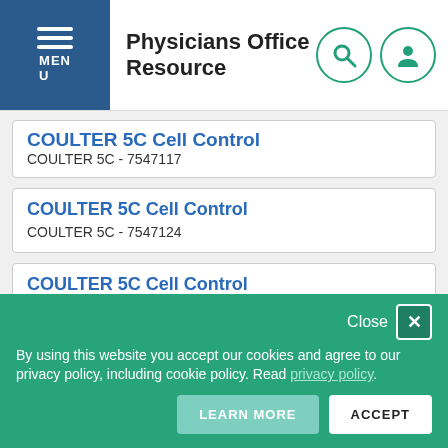Physicians Office Resource
COULTER 5C Cell Control — COULTER 5C - 7547117
COULTER 5C Cell Control — COULTER 5C - 7547124
COULTER 5C Cell Control — COULTER 5C - 7547199
COULTER 6C Cell Control
By using this website you accept our cookies and agree to our privacy policy, including cookie policy. Read privacy policy. Close | LEARN MORE | ACCEPT